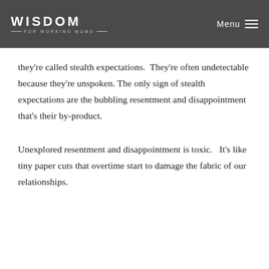WISDOM FOR WORKING MUMS | Menu
they're called stealth expectations.  They're often undetectable because they're unspoken. The only sign of stealth expectations are the bubbling resentment and disappointment that's their by-product.
Unexplored resentment and disappointment is toxic.   It's like tiny paper cuts that overtime start to damage the fabric of our relationships.